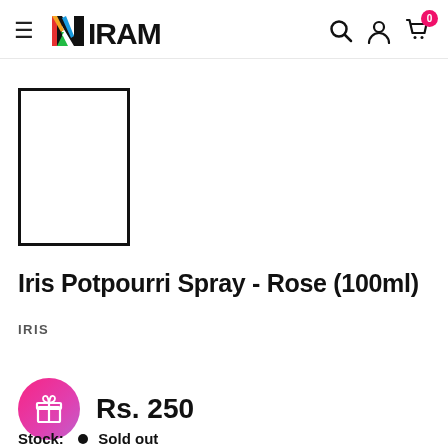NIRAM — navigation header with hamburger menu, search, account, and cart (0 items)
[Figure (photo): Product image placeholder — empty white rectangle with black border representing Iris Potpourri Spray Rose 100ml product packaging]
Iris Potpourri Spray - Rose (100ml)
IRIS
Rs. 250
Stock:  •  Sold out